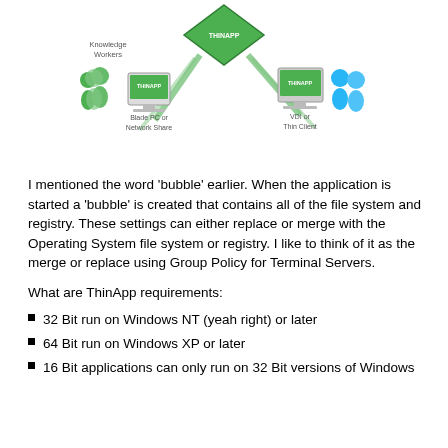[Figure (illustration): Network diagram showing ThinApp at the top center (green diamond shape) with rays connecting to left side showing Knowledge Workers with people icons and a Blade PC or Network Share computer, and right side showing a VDI or Thin Client computer with user icons.]
I mentioned the word ‘bubble’ earlier.  When the application is started a ‘bubble’ is created that contains all of the file system and registry.  These settings can either replace or merge with the Operating System file system or registry.   I like to think of it as the merge or replace using Group Policy for Terminal Servers.
What are ThinApp requirements:
32 Bit run on Windows NT (yeah right) or later
64 Bit run on Windows XP or later
16 Bit applications can only run on 32 Bit versions of Windows